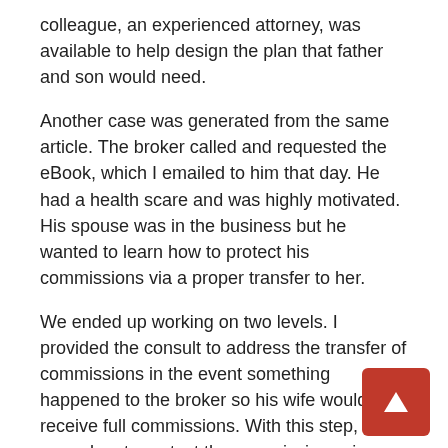colleague, an experienced attorney, was available to help design the plan that father and son would need.
Another case was generated from the same article. The broker called and requested the eBook, which I emailed to him that day. He had a health scare and was highly motivated. His spouse was in the business but he wanted to learn how to protect his commissions via a proper transfer to her.
We ended up working on two levels. I provided the consult to address the transfer of commissions in the event something happened to the broker so his wife would receive full commissions. With this step, we moved on to protect the commissions via an agreement with his wife. They wanted their commissions to be paid out based on very specific amounts and over a time period to reduce down taxation. Smaller annual amounts over time can end up with a greater net after tax and provide a buyer the income to cover cost of the service work needed.